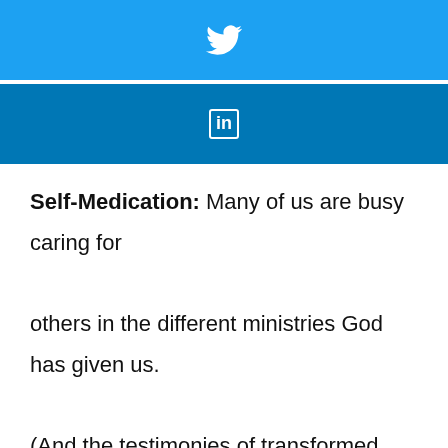[Figure (logo): Twitter bird icon on a light blue background bar]
[Figure (logo): LinkedIn 'in' icon on a blue background bar]
Self-Medication: Many of us are busy caring for others in the different ministries God has given us. (And the testimonies of transformed lives we read on here are spectacular!) We expend an enormous amount of energy and time helping others with the difficulties in their lives. However,